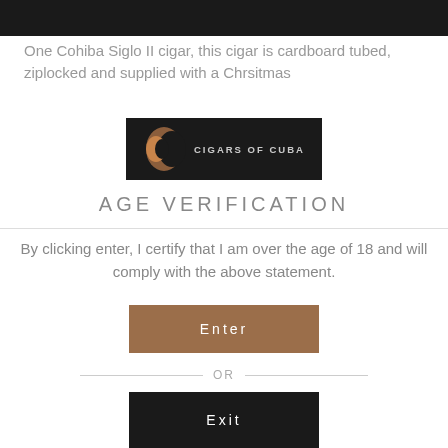One Cohiba Siglo II cigar, this cigar is cardboard tubed, ziplocked and supplied with a Chrsitmas
[Figure (logo): Cigars of Cuba logo: dark background with crescent moon shapes in brown/gold and the text CIGARS OF CUBA in white letters]
AGE VERIFICATION
By clicking enter, I certify that I am over the age of 18 and will comply with the above statement.
Enter
OR
Exit